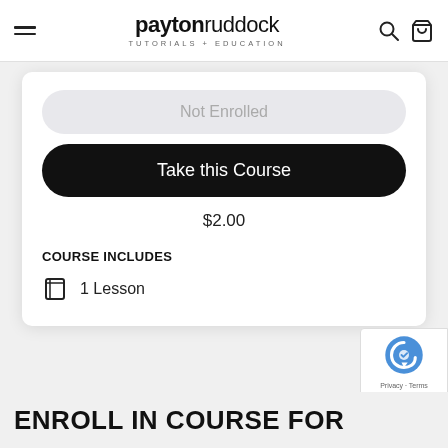payton ruddock TUTORIALS + EDUCATION
Not Enrolled
Take this Course
$2.00
COURSE INCLUDES
1 Lesson
[Figure (other): reCAPTCHA widget with Privacy and Terms links]
ENROLL IN COURSE FOR